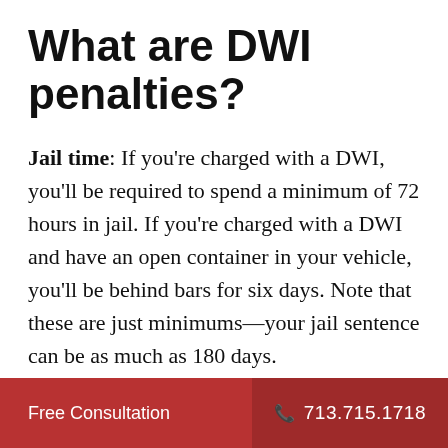What are DWI penalties?
Jail time: If you're charged with a DWI, you'll be required to spend a minimum of 72 hours in jail. If you're charged with a DWI and have an open container in your vehicle, you'll be behind bars for six days. Note that these are just minimums—your jail sentence can be as much as 180 days.
License suspension: A first-time DWI offender will have their license suspended
Free Consultation  713.715.1718